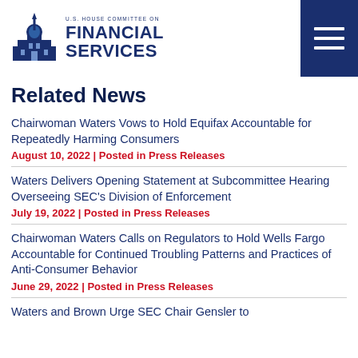[Figure (logo): U.S. House Committee on Financial Services logo with capitol building icon and text]
Related News
Chairwoman Waters Vows to Hold Equifax Accountable for Repeatedly Harming Consumers
August 10, 2022 | Posted in Press Releases
Waters Delivers Opening Statement at Subcommittee Hearing Overseeing SEC's Division of Enforcement
July 19, 2022 | Posted in Press Releases
Chairwoman Waters Calls on Regulators to Hold Wells Fargo Accountable for Continued Troubling Patterns and Practices of Anti-Consumer Behavior
June 29, 2022 | Posted in Press Releases
Waters and Brown Urge SEC Chair Gensler to